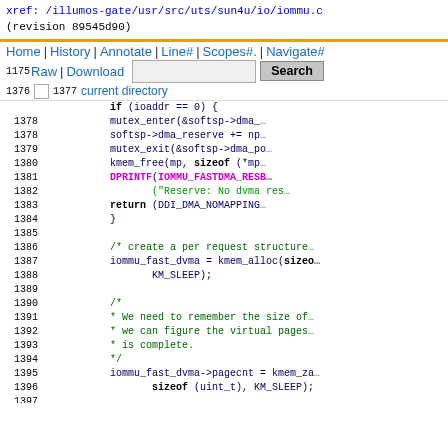xref: /illumos-gate/usr/src/uts/sun4u/io/iommu.c (revision 89545d90)
Home | History | Annotate | Line# | Scopes# | Navigate#
1175 Raw | Download [Search] Search
1176
1177 current directory
Code listing lines 1375-1399 of iommu.c